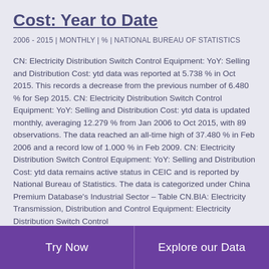Cost: Year to Date
2006 - 2015 | MONTHLY | % | NATIONAL BUREAU OF STATISTICS
CN: Electricity Distribution Switch Control Equipment: YoY: Selling and Distribution Cost: ytd data was reported at 5.738 % in Oct 2015. This records a decrease from the previous number of 6.480 % for Sep 2015. CN: Electricity Distribution Switch Control Equipment: YoY: Selling and Distribution Cost: ytd data is updated monthly, averaging 12.279 % from Jan 2006 to Oct 2015, with 89 observations. The data reached an all-time high of 37.480 % in Feb 2006 and a record low of 1.000 % in Feb 2009. CN: Electricity Distribution Switch Control Equipment: YoY: Selling and Distribution Cost: ytd data remains active status in CEIC and is reported by National Bureau of Statistics. The data is categorized under China Premium Database's Industrial Sector – Table CN.BIA: Electricity Transmission, Distribution and Control Equipment: Electricity Distribution Switch Control
Try Now | Explore our Data